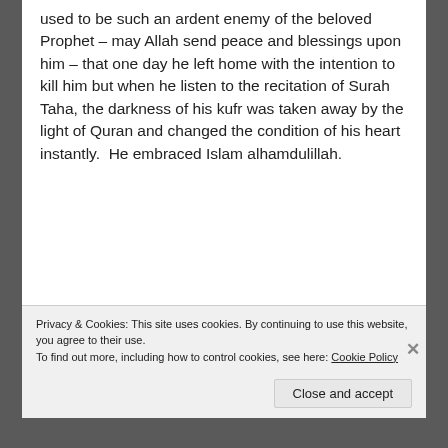used to be such an ardent enemy of the beloved Prophet – may Allah send peace and blessings upon him – that one day he left home with the intention to kill him but when he listen to the recitation of Surah Taha, the darkness of his kufr was taken away by the light of Quran and changed the condition of his heart instantly.  He embraced Islam alhamdulillah.
'Atabah ibn Rabee'ah was one of the greatest and most eloquent orators of the Quraish but
Privacy & Cookies: This site uses cookies. By continuing to use this website, you agree to their use.
To find out more, including how to control cookies, see here: Cookie Policy